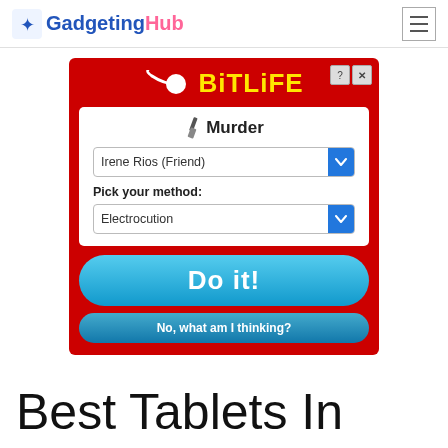GadgetingHub
[Figure (screenshot): BitLife game advertisement showing a Murder screen with a dropdown for 'Irene Rios (Friend)', a 'Pick your method' dropdown set to 'Electrocution', a blue 'Do it!' button, and a 'No, what am I thinking?' button, on a red background with the BitLife logo at the top.]
Best Tablets In